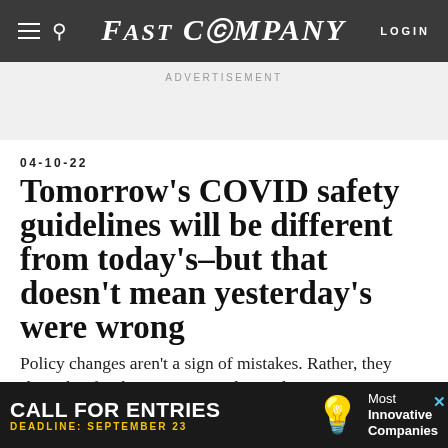FAST COMPANY — LOGIN
ADVERTISEMENT
04-10-22
Tomorrow's COVID safety guidelines will be different from today's–but that doesn't mean yesterday's were wrong
Policy changes aren't a sign of mistakes. Rather, they show that for the most part, policymakers are getting things right over and over again.
[Figure (screenshot): Bottom advertisement banner: CALL FOR ENTRIES, DEADLINE: SEPTEMBER 23, Most Innovative Companies, with light bulb icon]